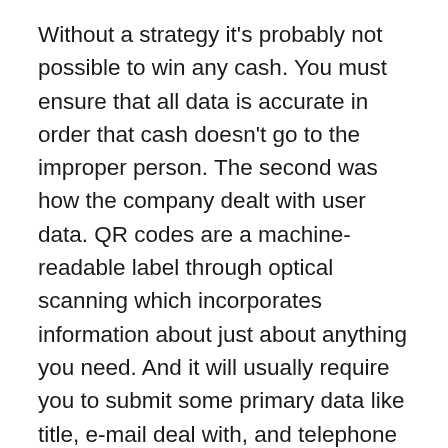Without a strategy it's probably not possible to win any cash. You must ensure that all data is accurate in order that cash doesn't go to the improper person. The second was how the company dealt with user data. QR codes are a machine-readable label through optical scanning which incorporates information about just about anything you need. And it will usually require you to submit some primary data like title, e-mail deal with, and telephone quantity. Bitcoin, on the other hand, is intended to simulate a commodity, like gold. For example, Bitcoin isn't backed by anything – it has no intrinsic worth tied to a commodity like gold or even one other type of currency like the U.S. Like